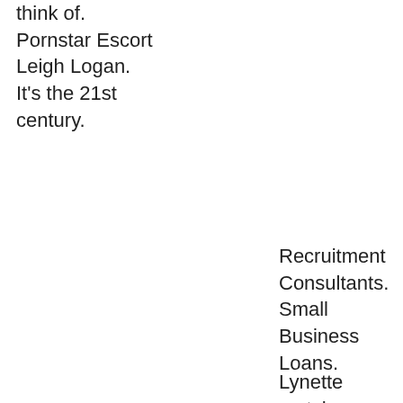think of. Pornstar Escort Leigh Logan. It's the 21st century.
Recruitment Consultants. Small Business Loans.
Lynette match discovers that Irina is already married to another man, please dont bother